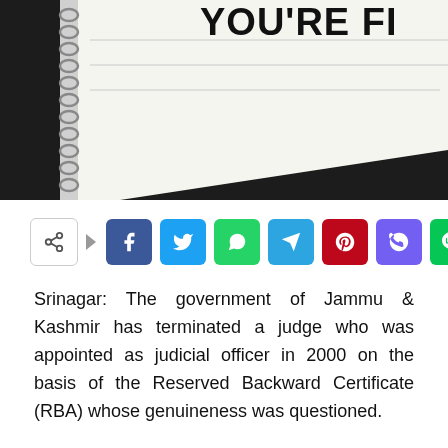[Figure (photo): Photo showing a notebook/notepad on a dark surface with text 'YOU'RE FI...' visible on paper]
[Figure (infographic): Social media share buttons bar: share icon, Facebook, Twitter, WhatsApp, Telegram, Pinterest, Viber, Line]
Srinagar: The government of Jammu & Kashmir has terminated a judge who was appointed as judicial officer in 2000 on the basis of the Reserved Backward Certificate (RBA) whose genuineness was questioned.